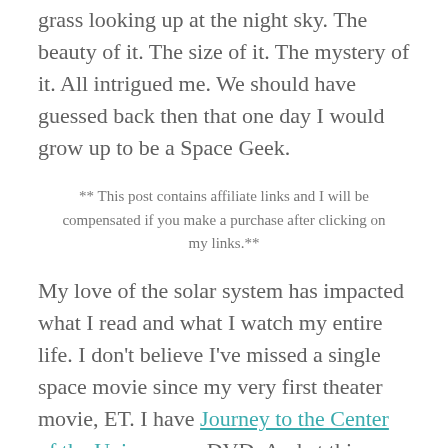grass looking up at the night sky. The beauty of it. The size of it. The mystery of it. All intrigued me. We should have guessed back then that one day I would grow up to be a Space Geek.
** This post contains affiliate links and I will be compensated if you make a purchase after clicking on my links.**
My love of the solar system has impacted what I read and what I watch my entire life. I don't believe I've missed a single space movie since my very first theater movie, ET. I have Journey to the Center of the Universe on DVD. And at this very moment, a hand-